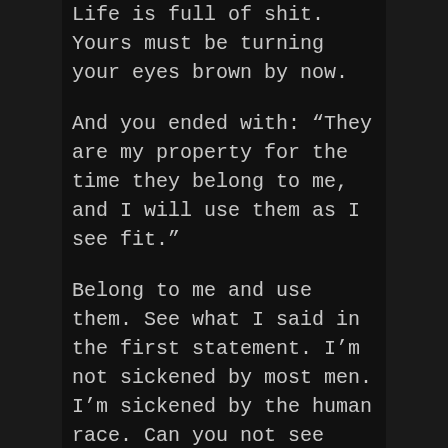Life is full of shit. Yours must be turning your eyes brown by now.
And you ended with: “They are my property for the time they belong to me, and I will use them as I see fit.”
Belong to me and use them. See what I said in the first statement. I’m not sickened by most men. I’m sickened by the human race. Can you not see beyond your own crap far enough to not judge someone?
A long time ago, I saw a story on the news about a man that had raped and murdered someone. I immediately, as a child still, sided with the press, saying “BURN HIM ALIVE!” My father turned to me and said “Really? And you’d hang him like that? This man, this human